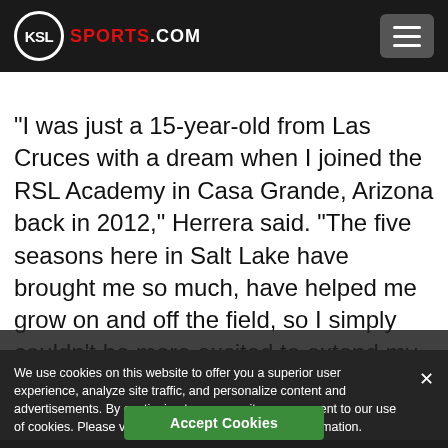KSL SPORTS.COM
“I was just a 15-year-old from Las Cruces with a dream when I joined the RSL Academy in Casa Grande, Arizona back in 2012,” Herrera said. “The five seasons here in Salt Lake have brought me so much, have helped me grow on and off the field, so I simply couldn’t be more excited to extend my career
We use cookies on this website to offer you a superior user experience, analyze site traffic, and personalize content and advertisements. By continuing to use our site, you consent to our use of cookies. Please visit our Privacy Policy for more information.
Accept Cookies